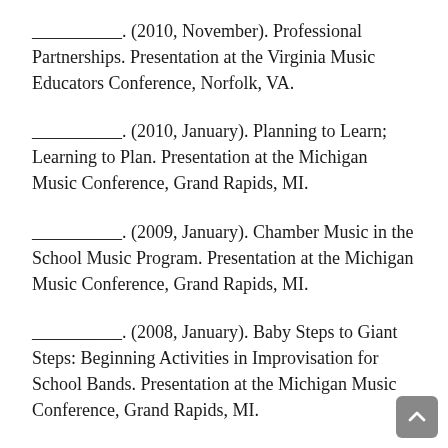__________. (2010, November). Professional Partnerships. Presentation at the Virginia Music Educators Conference, Norfolk, VA.
__________. (2010, January). Planning to Learn; Learning to Plan. Presentation at the Michigan Music Conference, Grand Rapids, MI.
__________. (2009, January). Chamber Music in the School Music Program. Presentation at the Michigan Music Conference, Grand Rapids, MI.
__________. (2008, January). Baby Steps to Giant Steps: Beginning Activities in Improvisation for School Bands. Presentation at the Michigan Music Conference, Grand Rapids, MI.